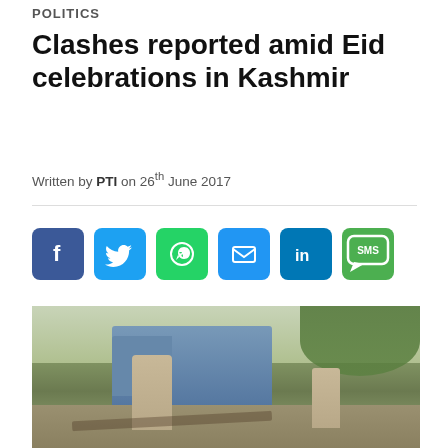POLITICS
Clashes reported amid Eid celebrations in Kashmir
Written by PTI on 26th June 2017
[Figure (infographic): Social media sharing icons: Facebook, Twitter, WhatsApp, Email, LinkedIn, SMS]
[Figure (photo): Two police officers standing near a military truck on a road in Kashmir, with barbed wire in the foreground and trees in the background]